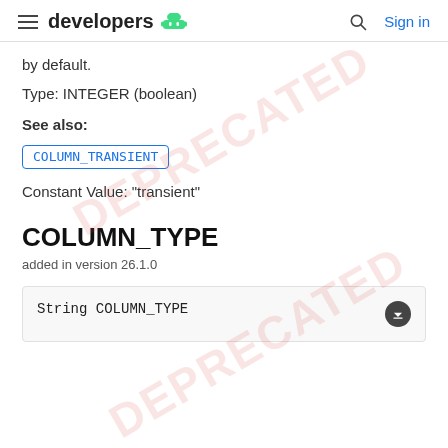developers [android icon] | Sign in
by default.
Type: INTEGER (boolean)
See also:
COLUMN_TRANSIENT
Constant Value: "transient"
COLUMN_TYPE
added in version 26.1.0
String COLUMN_TYPE